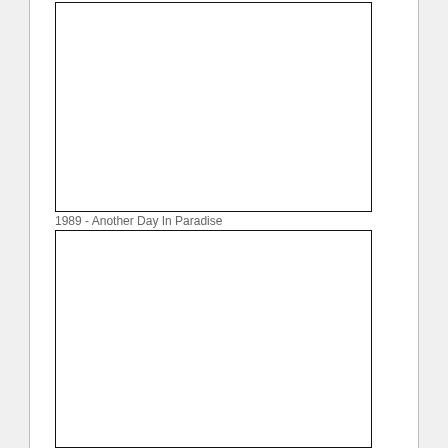[Figure (other): Empty white rectangular box (top image placeholder)]
1989 - Another Day In Paradise
[Figure (other): Empty white rectangular box (bottom image placeholder)]